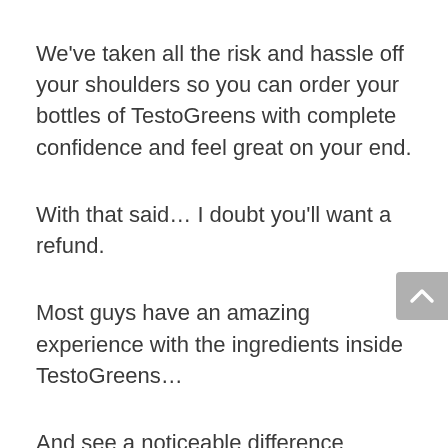We've taken all the risk and hassle off your shoulders so you can order your bottles of TestoGreens with complete confidence and feel great on your end.
With that said… I doubt you'll want a refund.
Most guys have an amazing experience with the ingredients inside TestoGreens…
And see a noticeable difference FAST…
Because they're virtually “deflating” fat cells…*